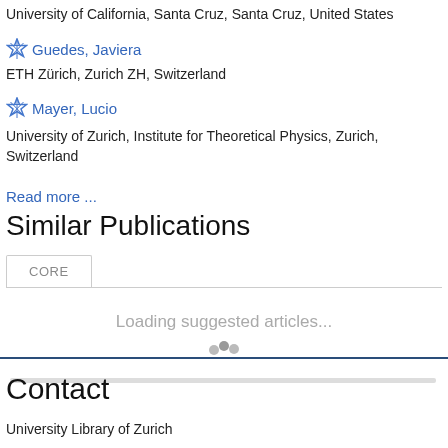University of California, Santa Cruz, Santa Cruz, United States
Guedes, Javiera
ETH Zürich, Zurich ZH, Switzerland
Mayer, Lucio
University of Zurich, Institute for Theoretical Physics, Zurich, Switzerland
Read more ...
Similar Publications
CORE
Loading suggested articles...
Contact
University Library of Zurich